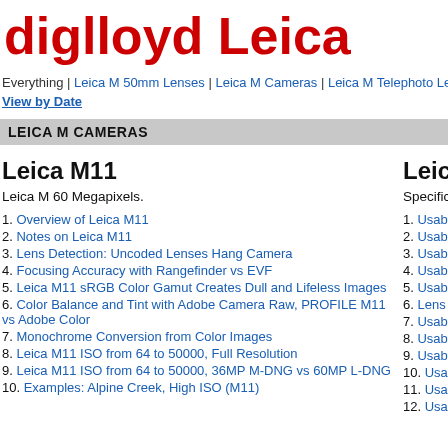diglloyd Leica
Everything | Leica M 50mm Lenses | Leica M Cameras | Leica M Telephoto Lenses |
View by Date
LEICA M CAMERAS
Leica M11
Leica M 60 Megapixels.
1. Overview of Leica M11
2. Notes on Leica M11
3. Lens Detection: Uncoded Lenses Hang Camera
4. Focusing Accuracy with Rangefinder vs EVF
5. Leica M11 sRGB Color Gamut Creates Dull and Lifeless Images
6. Color Balance and Tint with Adobe Camera Raw, PROFILE M11 vs Adobe Color
7. Monochrome Conversion from Color Images
8. Leica M11 ISO from 64 to 50000, Full Resolution
9. Leica M11 ISO from 64 to 50000, 36MP M-DNG vs 60MP L-DNG
10. Examples: Alpine Creek, High ISO (M11)
Leica M
Specific iss
1. Usability:
2. Usability:
3. Usability:
4. Usability:
5. Usability:
6. Lens Cod
7. Usability:
8. Usability:
9. Usability:
10. Usability
11. Usability
12. Usability